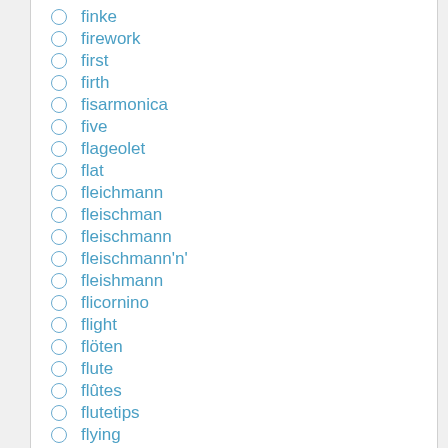finke
firework
first
firth
fisarmonica
five
flageolet
flat
fleichmann
fleischman
fleischmann
fleischmann'n'
fleishmann
flicornino
flight
flöten
flute
flûtes
flutetips
flying